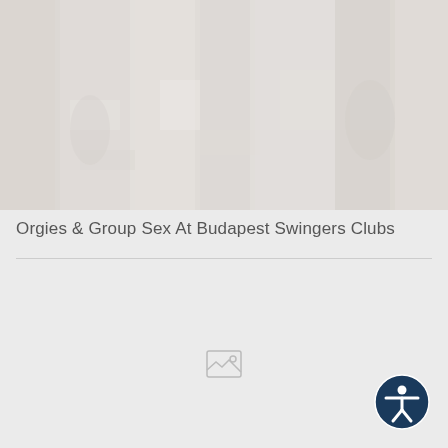[Figure (photo): Faded/washed out interior photo serving as hero image at top of page]
Orgies & Group Sex At Budapest Swingers Clubs
[Figure (other): Small image placeholder icon in the content area]
[Figure (other): Accessibility button icon (person with circle) in bottom right corner]